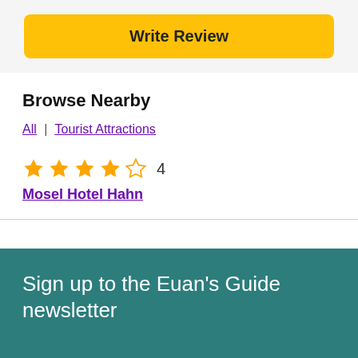Write Review
Browse Nearby
All | Tourist Attractions
★★★★☆ 4
Mosel Hotel Hahn
Sign up to the Euan's Guide newsletter